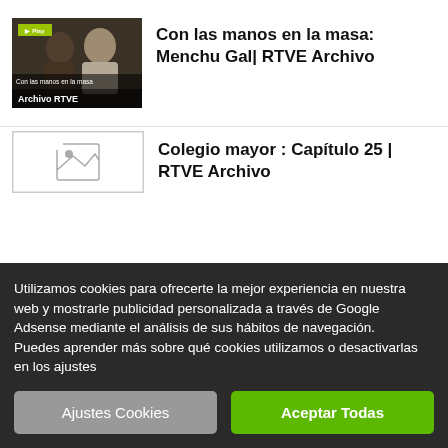[Figure (screenshot): Thumbnail image of TV show 'Con las manos en la masa' with two people, green play label, title overlay, and 'Archivo RTVE' source bar]
Con las manos en la masa: Menchu Gal| RTVE Archivo
[Figure (photo): Broken image icon placeholder thumbnail for second listing]
Colegio mayor : Capítulo 25 | RTVE Archivo
Utilizamos cookies para ofrecerte la mejor experiencia en nuestra web y mostrarle publicidad personalizada a través de Google Adsense mediante el análisis de sus hábitos de navegación.
Puedes aprender más sobre qué cookies utilizamos o desactivarlas en los ajustes